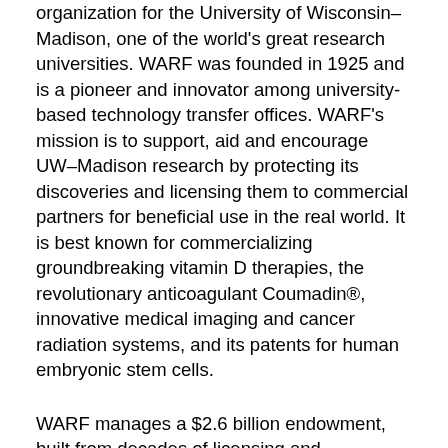organization for the University of Wisconsin–Madison, one of the world's great research universities. WARF was founded in 1925 and is a pioneer and innovator among university-based technology transfer offices. WARF's mission is to support, aid and encourage UW–Madison research by protecting its discoveries and licensing them to commercial partners for beneficial use in the real world. It is best known for commercializing groundbreaking vitamin D therapies, the revolutionary anticoagulant Coumadin®, innovative medical imaging and cancer radiation systems, and its patents for human embryonic stem cells.
WARF manages a $2.6 billion endowment, built from decades of licensing and investment revenues, on